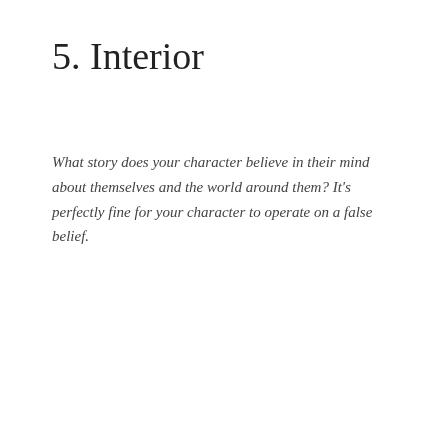5. Interior
What story does your character believe in their mind about themselves and the world around them? It's perfectly fine for your character to operate on a false belief.